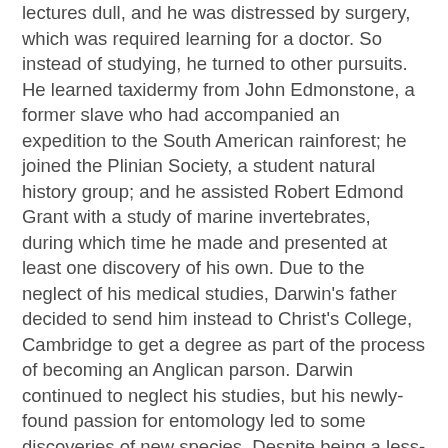lectures dull, and he was distressed by surgery, which was required learning for a doctor. So instead of studying, he turned to other pursuits. He learned taxidermy from John Edmonstone, a former slave who had accompanied an expedition to the South American rainforest; he joined the Plinian Society, a student natural history group; and he assisted Robert Edmond Grant with a study of marine invertebrates, during which time he made and presented at least one discovery of his own. Due to the neglect of his medical studies, Darwin's father decided to send him instead to Christ's College, Cambridge to get a degree as part of the process of becoming an Anglican parson. Darwin continued to neglect his studies, but his newly-found passion for entomology led to some discoveries of new species. Despite being a less-than-stellar student